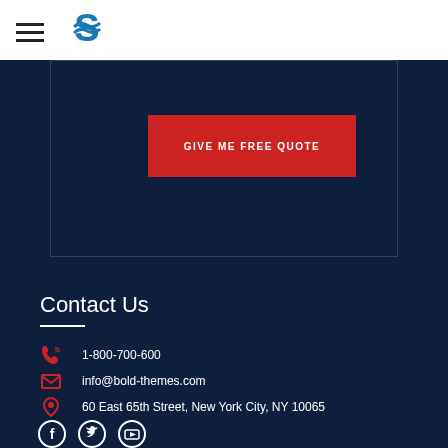[Figure (logo): Blue stylized S logo with wave design]
GIVE ME FREE QUOTE
Contact Us
1-800-700-600
info@bold-themes.com
60 East 65th Street, New York City, NY 10065
[Figure (illustration): Social media icons: Facebook, Twitter, YouTube]